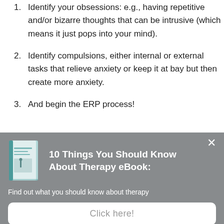1. Identify your obsessions: e.g., having repetitive and/or bizarre thoughts that can be intrusive (which means it just pops into your mind).
2. Identify compulsions, either internal or external tasks that relieve anxiety or keep it at bay but then create more anxiety.
3. And begin the ERP process!
[Figure (other): Modal popup banner with book image and call-to-action. Shows a book cover for '10 Things You Should Know About Therapy eBook', description text, and a 'Click here!' button on a gray background.]